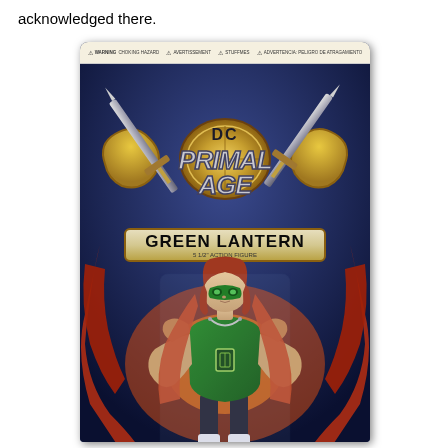acknowledged there.
[Figure (photo): DC Primal Age Green Lantern action figure in retail packaging. The package features the DC Primal Age logo with crossed swords and a gold shield emblem. The character name 'GREEN LANTERN' is displayed on a gold banner, with '5 1/2" ACTION FIGURE' subtitle. The figure depicts Green Lantern in a barbarian-style costume with a green tunic, chain necklace, and fur/feathered accents, styled in an He-Man aesthetic. The packaging background is dark blue with comic-style artwork.]